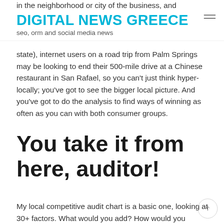in the neighborhood or city of the business, and
DIGITAL NEWS GREECE
seo, orm and social media news
state), internet users on a road trip from Palm Springs may be looking to end their 500-mile drive at a Chinese restaurant in San Rafael, so you can't just think hyper-locally; you've got to see the bigger local picture. And you've got to do the analysis to find ways of winning as often as you can with both consumer groups.
You take it from here, auditor!
My local competitive audit chart is a basic one, looking at 30+ factors. What would you add? How would you improve it? Did I miss a GMB duplicate